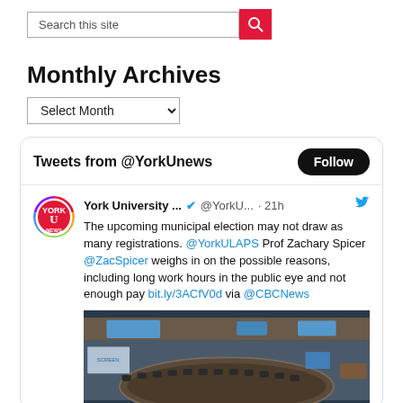Search this site
Monthly Archives
Select Month
[Figure (screenshot): Twitter/X widget showing tweets from @YorkUnews with a Follow button and a tweet from York University... @YorkU... 21h: The upcoming municipal election may not draw as many registrations. @YorkULAPS Prof Zachary Spicer @ZacSpicer weighs in on the possible reasons, including long work hours in the public eye and not enough pay bit.ly/3ACfV0d via @CBCNews, with a photo of a council chamber]
Tweets from @YorkUnews